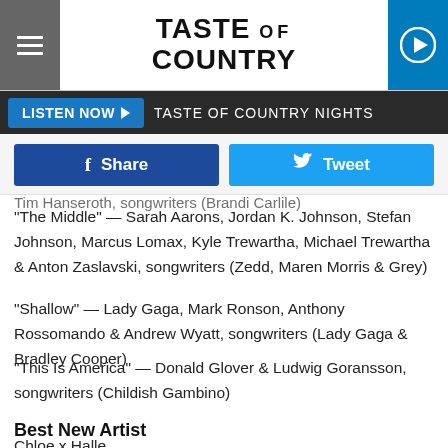Taste of Country — LISTEN NOW | TASTE OF COUNTRY NIGHTS
[Figure (screenshot): Share and Tweet social media buttons]
Tim Hanseroth, songwriters (Brand Carlile)
"The Middle" — Sarah Aarons, Jordan K. Johnson, Stefan Johnson, Marcus Lomax, Kyle Trewartha, Michael Trewartha & Anton Zaslavski, songwriters (Zedd, Maren Morris & Grey)
"Shallow" — Lady Gaga, Mark Ronson, Anthony Rossomando & Andrew Wyatt, songwriters (Lady Gaga & Bradley Cooper)
"This Is America" — Donald Glover & Ludwig Goransson, songwriters (Childish Gambino)
Best New Artist
Chloe x Halle